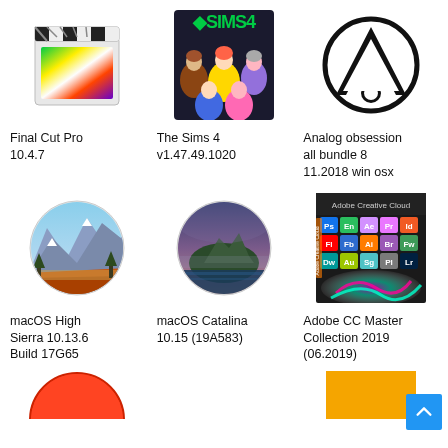[Figure (logo): Final Cut Pro app icon - clapperboard with rainbow gradient]
Final Cut Pro 10.4.7
[Figure (illustration): The Sims 4 game cover with cartoon characters and Sims 4 logo]
The Sims 4 v1.47.49.1020
[Figure (logo): Analog obsession logo - letter A in circle]
Analog obsession all bundle 8 11.2018 win osx
[Figure (photo): macOS High Sierra icon - circular mountain landscape photo]
macOS High Sierra 10.13.6 Build 17G65
[Figure (photo): macOS Catalina icon - circular island/coastal landscape photo]
macOS Catalina 10.15 (19A583)
[Figure (screenshot): Adobe Creative Cloud Master Collection 2019 box art with app icons grid]
Adobe CC Master Collection 2019 (06.2019)